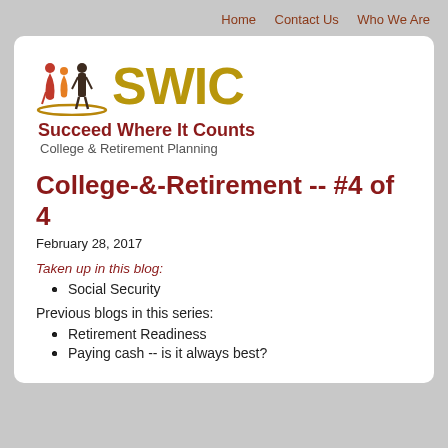Home   Contact Us   Who We Are
[Figure (logo): SWIC logo with three human figures in red, orange, and dark brown/black, and the large gold text 'SWIC', with taglines 'Succeed Where It Counts' and 'College & Retirement Planning']
College-&-Retirement -- #4 of 4
February 28, 2017
Taken up in this blog:
Social Security
Previous blogs in this series:
Retirement Readiness
Paying cash -- is it always best?